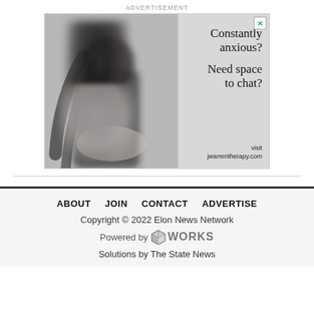ADVERTISEMENT
[Figure (photo): Advertisement image showing a blurred woman with long dark hair looking down, with text 'Constantly anxious? Need space to chat? visit jwarrentherapy.com' on a grey background]
ABOUT   JOIN   CONTACT   ADVERTISE
Copyright © 2022 Elon News Network
Powered by SNworks Solutions by The State News